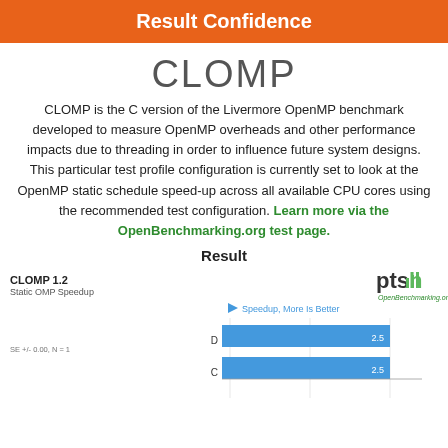Result Confidence
CLOMP
CLOMP is the C version of the Livermore OpenMP benchmark developed to measure OpenMP overheads and other performance impacts due to threading in order to influence future system designs. This particular test profile configuration is currently set to look at the OpenMP static schedule speed-up across all available CPU cores using the recommended test configuration. Learn more via the OpenBenchmarking.org test page.
Result
[Figure (bar-chart): CLOMP 1.2 — Static OMP Speedup]